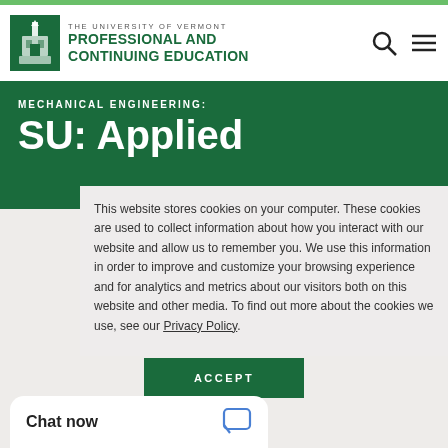[Figure (logo): University of Vermont Professional and Continuing Education logo with church steeple icon]
MECHANICAL ENGINEERING: SU: Applied
This website stores cookies on your computer. These cookies are used to collect information about how you interact with our website and allow us to remember you. We use this information in order to improve and customize your browsing experience and for analytics and metrics about our visitors both on this website and other media. To find out more about the cookies we use, see our Privacy Policy.
ACCEPT
Chat now